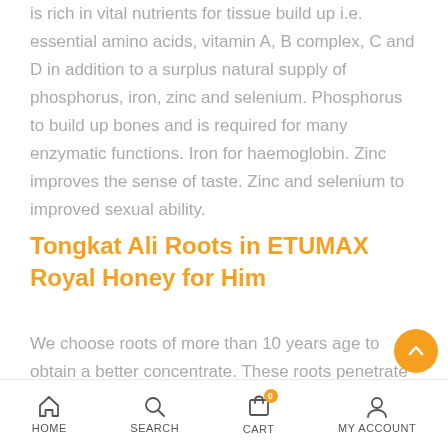is rich in vital nutrients for tissue build up i.e. essential amino acids, vitamin A, B complex, C and D in addition to a surplus natural supply of phosphorus, iron, zinc and selenium. Phosphorus to build up bones and is required for many enzymatic functions. Iron for haemoglobin. Zinc improves the sense of taste. Zinc and selenium to improved sexual ability.
Tongkat Ali Roots in ETUMAX Royal Honey for Him
We choose roots of more than 10 years age to obtain a better concentrate. These roots penetrate deep into the soil for better nourishment. We employ the most recent technologies of ferential sol ubility, extraction and high performance liquid chromatography
HOME  SEARCH  CART  MY ACCOUNT